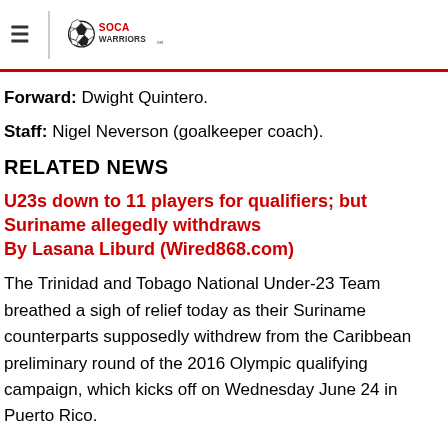SocaWarriors.net
Forward: Dwight Quintero.
Staff: Nigel Neverson (goalkeeper coach).
RELATED NEWS
U23s down to 11 players for qualifiers; but Suriname allegedly withdraws
By Lasana Liburd (Wired868.com)
The Trinidad and Tobago National Under-23 Team breathed a sigh of relief today as their Suriname counterparts supposedly withdrew from the Caribbean preliminary round of the 2016 Olympic qualifying campaign, which kicks off on Wednesday June 24 in Puerto Rico.
The Caribbean Football Union (CFU) is yet to make an official